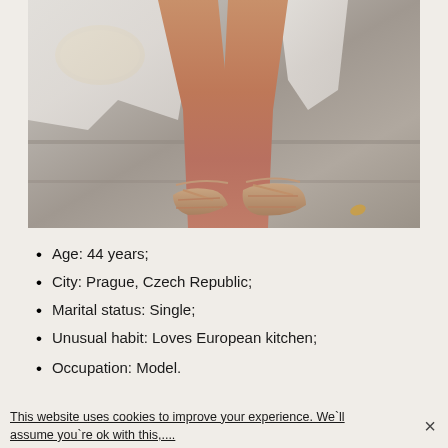[Figure (photo): Photo of a woman's legs and feet wearing nude strappy sandals, sitting on stone steps, with a white satin dress/wrap and a woven clutch bag visible]
Age: 44 years;
City: Prague, Czech Republic;
Marital status: Single;
Unusual habit: Loves European kitchen;
Occupation: Model.
This website uses cookies to improve your experience. We`ll assume you`re ok with this,....